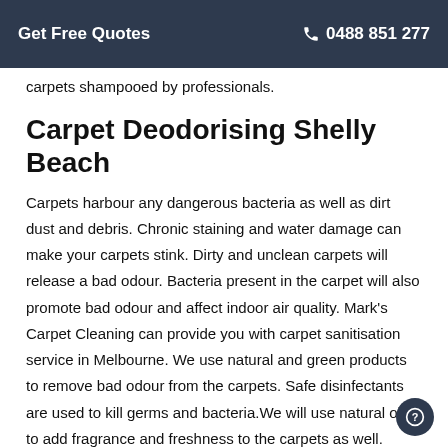Get Free Quotes   📞 0488 851 277
carpets shampooed by professionals.
Carpet Deodorising Shelly Beach
Carpets harbour any dangerous bacteria as well as dirt dust and debris. Chronic staining and water damage can make your carpets stink. Dirty and unclean carpets will release a bad odour. Bacteria present in the carpet will also promote bad odour and affect indoor air quality. Mark's Carpet Cleaning can provide you with carpet sanitisation service in Melbourne. We use natural and green products to remove bad odour from the carpets. Safe disinfectants are used to kill germs and bacteria.We will use natural oils to add fragrance and freshness to the carpets as well.